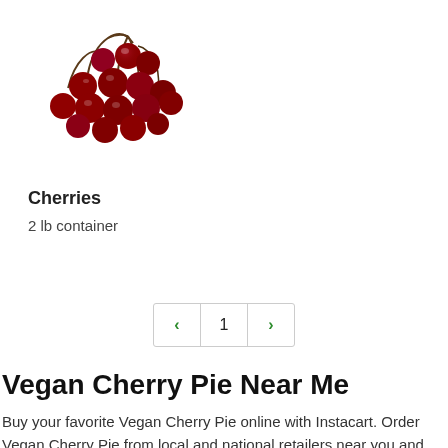[Figure (photo): A pile of dark red cherries with stems on a white background]
Cherries
2 lb container
< 1 >
Vegan Cherry Pie Near Me
Buy your favorite Vegan Cherry Pie online with Instacart. Order Vegan Cherry Pie from local and national retailers near you and enjoy on-demand, contactless delivery or pickup within 2 hours.